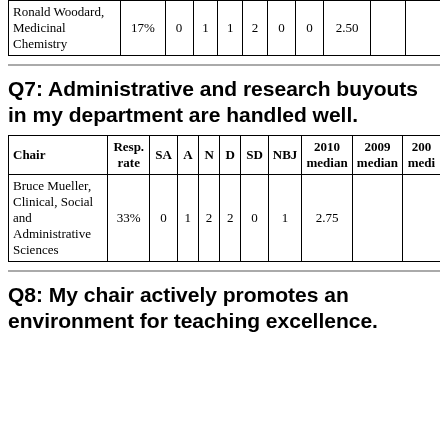| Chair | Resp. rate | SA | A | N | D | SD | NBJ | 2010 median | 2009 median | 200 medi |
| --- | --- | --- | --- | --- | --- | --- | --- | --- | --- | --- |
| Ronald Woodard, Medicinal Chemistry | 17% | 0 | 1 | 1 | 2 | 0 | 0 | 2.50 |  |  |
Q7: Administrative and research buyouts in my department are handled well.
| Chair | Resp. rate | SA | A | N | D | SD | NBJ | 2010 median | 2009 median | 200 medi |
| --- | --- | --- | --- | --- | --- | --- | --- | --- | --- | --- |
| Bruce Mueller, Clinical, Social and Administrative Sciences | 33% | 0 | 1 | 2 | 2 | 0 | 1 | 2.75 |  |  |
Q8: My chair actively promotes an environment for teaching excellence.